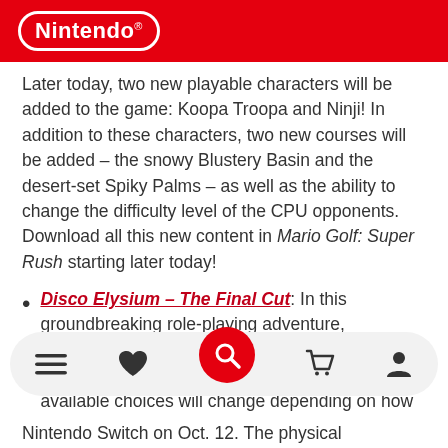Nintendo
Later today, two new playable characters will be added to the game: Koopa Troopa and Ninji! In addition to these characters, two new courses will be added – the snowy Blustery Basin and the desert-set Spiky Palms – as well as the ability to change the difficulty level of the CPU opponents. Download all this new content in Mario Golf: Super Rush starting later today!
Disco Elysium – The Final Cut: In this groundbreaking role-playing adventure, interrogate people and uncover clues with the help of 24 inner skills. The player's behaviors and available choices will change depending on how they develop the skills, directly
Nintendo Switch on Oct. 12. The physical